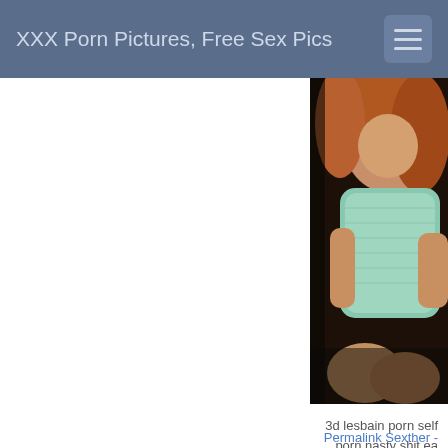XXX Porn Pictures, Free Sex Pics
[Figure (photo): Woman with auburn/red wavy hair wearing a teal/mint lace bodysuit, seated pose against dark background, partially cropped on right side of page]
3d lesbain porn self porn nasty shit ea teen fingering porn powersville
Permalink Sexther -